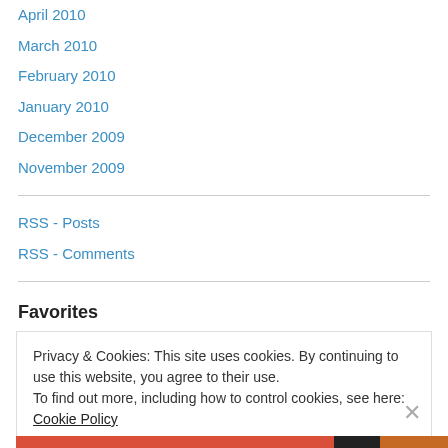April 2010
March 2010
February 2010
January 2010
December 2009
November 2009
RSS - Posts
RSS - Comments
Favorites
Privacy & Cookies: This site uses cookies. By continuing to use this website, you agree to their use.
To find out more, including how to control cookies, see here: Cookie Policy
Close and accept